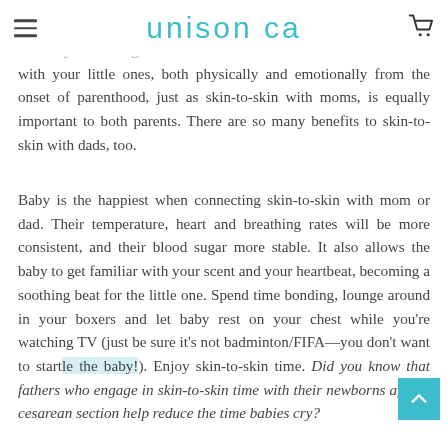unison ca
from the day that they are born to the first few weeks of life, and even beyond. He is a great tool bonding with your little ones, both physically and emotionally from the onset of parenthood, just as skin-to-skin with moms, is equally important to both parents. There are so many benefits to skin-to-skin with dads, too.
Baby is the happiest when connecting skin-to-skin with mom or dad. Their temperature, heart and breathing rates will be more consistent, and their blood sugar more stable. It also allows the baby to get familiar with your scent and your heartbeat, becoming a soothing beat for the little one. Spend time bonding, lounge around in your boxers and let baby rest on your chest while you're watching TV (just be sure it's not badminton/FIFA—you don't want to startle the baby!). Enjoy skin-to-skin time. Did you know that fathers who engage in skin-to-skin time with their newborns after a cesarean section help reduce the time babies cry?